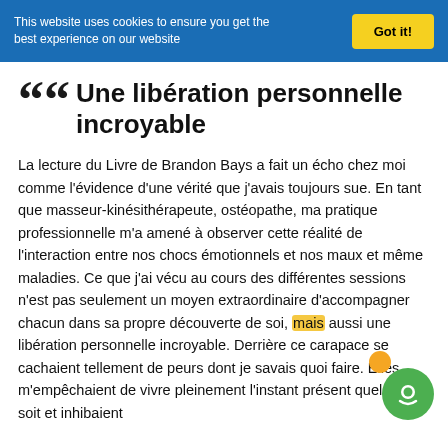This website uses cookies to ensure you get the best experience on our website
Une libération personnelle incroyable
La lecture du Livre de Brandon Bays a fait un écho chez moi comme l'évidence d'une vérité que j'avais toujours sue. En tant que masseur-kinésithérapeute, ostéopathe, ma pratique professionnelle m'a amené à observer cette réalité de l'interaction entre nos chocs émotionnels et nos maux et même maladies. Ce que j'ai vécu au cours des différentes sessions n'est pas seulement un moyen extraordinaire d'accompagner chacun dans sa propre découverte de soi, mais aussi une libération personnelle incroyable. Derrière ce carapace se cachaient tellement de peurs dont je savais quoi faire. Elles m'empêchaient de vivre pleinement l'instant présent quel qu'il soit et inhibaient